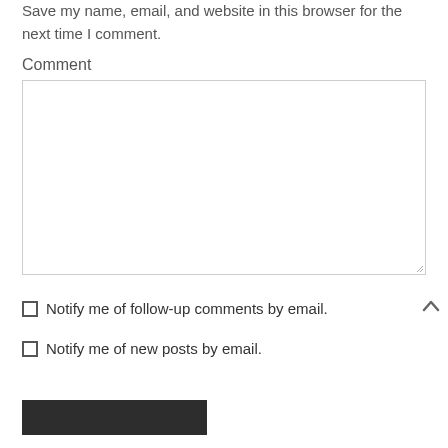Save my name, email, and website in this browser for the next time I comment.
Comment
[Figure (screenshot): Empty comment textarea input box with resize handle in bottom-right corner]
Notify me of follow-up comments by email.
Notify me of new posts by email.
[Figure (screenshot): Dark submit button (Post Comment or similar)]